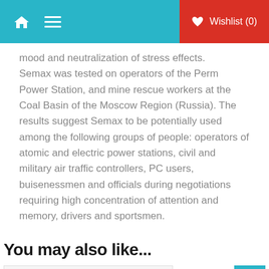Home | Menu | Wishlist (0)
mood and neutralization of stress effects. Semax was tested on operators of the Perm Power Station, and mine rescue workers at the Coal Basin of the Moscow Region (Russia). The results suggest Semax to be potentially used among the following groups of people: operators of atomic and electric power stations, civil and military air traffic controllers, PC users, buisenessmen and officials during negotiations requiring high concentration of attention and memory, drivers and sportsmen.
You may also like...